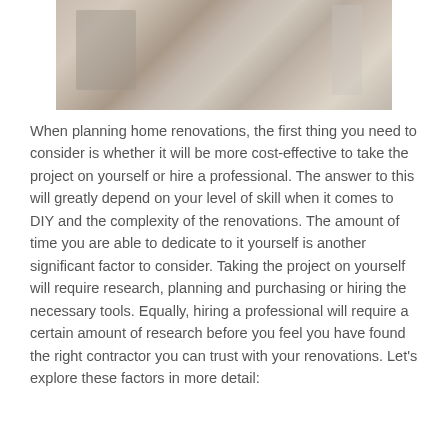[Figure (photo): A renovation site photo showing a room under construction with tools, debris, and construction materials visible.]
When planning home renovations, the first thing you need to consider is whether it will be more cost-effective to take the project on yourself or hire a professional. The answer to this will greatly depend on your level of skill when it comes to DIY and the complexity of the renovations. The amount of time you are able to dedicate to it yourself is another significant factor to consider. Taking the project on yourself will require research, planning and purchasing or hiring the necessary tools. Equally, hiring a professional will require a certain amount of research before you feel you have found the right contractor you can trust with your renovations. Let's explore these factors in more detail: